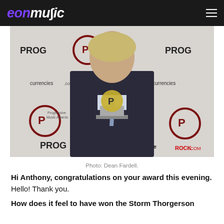eonmusic
[Figure (photo): Man in dark suit holding a Prog Music Award trophy in front of a branded backdrop with PROG and Progressive Music Awards logos. Photo taken at an awards ceremony.]
Photo: Dean Fardell.
Hi Anthony, congratulations on your award this evening.
Hello! Thank you.
How does it feel to have won the Storm Thorgerson